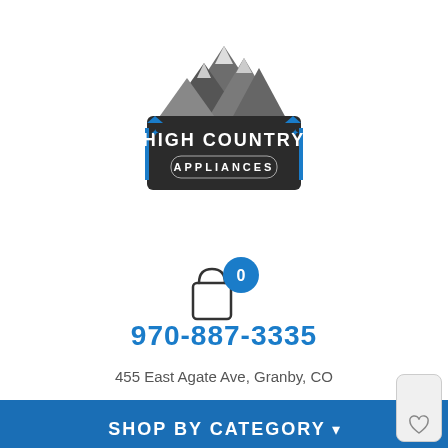[Figure (logo): High Country Appliances logo — mountain illustration above a dark hexagonal badge with the text HIGH COUNTRY APPLIANCES in white and blue]
[Figure (illustration): Shopping bag icon with a blue circle badge showing the number 0]
970-887-3335
455 East Agate Ave, Granby, CO
SHOP BY CATEGORY ▾